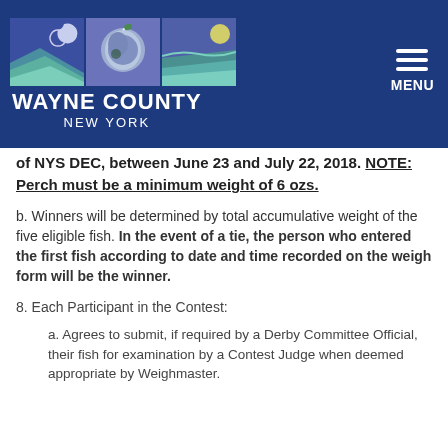Wayne County New York
of NYS DEC, between June 23 and July 22, 2018. NOTE: Perch must be a minimum weight of 6 ozs.
b. Winners will be determined by total accumulative weight of the five eligible fish. In the event of a tie, the person who entered the first fish according to date and time recorded on the weigh form will be the winner.
8. Each Participant in the Contest:
a. Agrees to submit, if required by a Derby Committee Official, their fish for examination by a Contest Judge when deemed appropriate by Weighmaster.